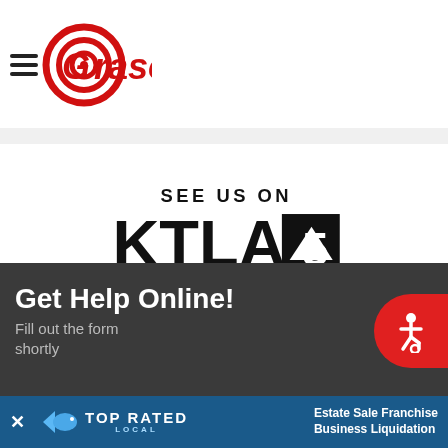[Figure (logo): Grasons company logo with circular target/bullseye icon in red and hamburger menu lines, with red italic 'Grasons' text]
[Figure (logo): KTLA 5 TV station logo with text 'SEE US ON' above bold 'KTLA 5' in black, with geometric number 5 in a box]
Get Help Online!
Fill out the form shortly
[Figure (logo): Top Rated Local badge with fish/marlin icon and 'TOP RATED LOCAL' text in white on blue background, with X close button]
Estate Sale Franchise Business Liquidation